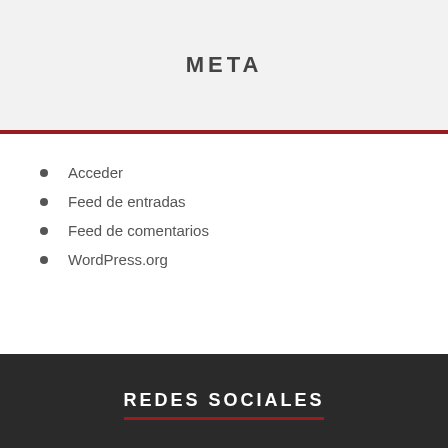META
Acceder
Feed de entradas
Feed de comentarios
WordPress.org
REDES SOCIALES
[Figure (logo): Twitter logo icon with white bird on blue background]
[Figure (logo): Facebook logo icon with white 'f' on dark blue background]
[Figure (logo): YouTube logo icon with YouTube wordmark on light grey background]
[Figure (logo): reCAPTCHA logo icon on light grey background with Privacy and Terms text]